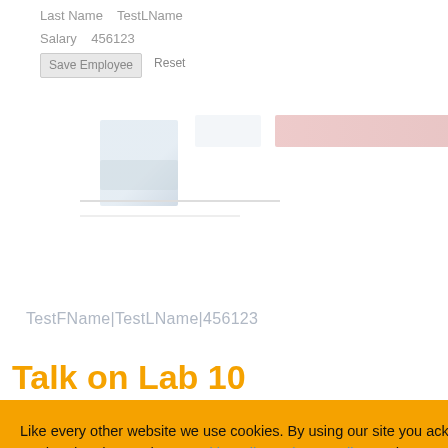Last Name   TestLName
Salary  456123
Save Employee    Reset
[Figure (screenshot): Blurry/faded screenshot of a web application form with a small icon on the left and a pink/red highlighted UI element on the right, with form content below]
TestFName|TestLName|456123
Talk on Lab 10
[Figure (screenshot): Cookie consent overlay banner with orange background. Text: 'Like every other website we use cookies. By using our site you acknowledge that you have read and understand our Cookie Policy, Privacy Policy, and our Terms of Service. Learn more' with buttons: 'Ask me later', 'Decline', 'Allow cookies']
mployee object
d as Model
tically whenever
nod containing
parameter.